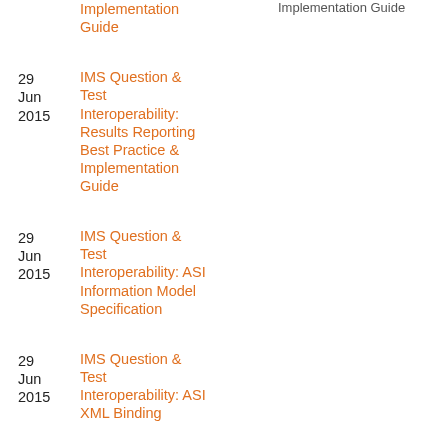Implementation Guide | Implementation Guide
29 Jun 2015 | IMS Question & Test Interoperability: Results Reporting Best Practice & Implementation Guide
29 Jun 2015 | IMS Question & Test Interoperability: ASI Information Model Specification
29 Jun 2015 | IMS Question & Test Interoperability: ASI XML Binding